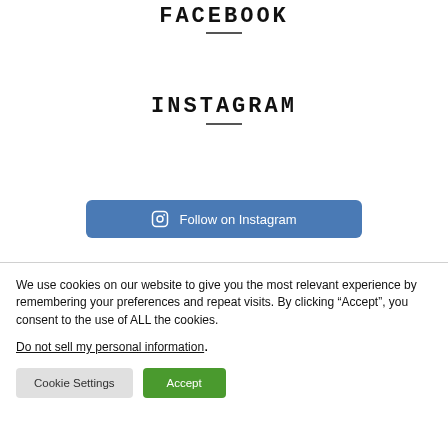FACEBOOK
INSTAGRAM
[Figure (other): Blue rounded button with Instagram camera icon and text 'Follow on Instagram']
We use cookies on our website to give you the most relevant experience by remembering your preferences and repeat visits. By clicking “Accept”, you consent to the use of ALL the cookies.
Do not sell my personal information.
Cookie Settings
Accept